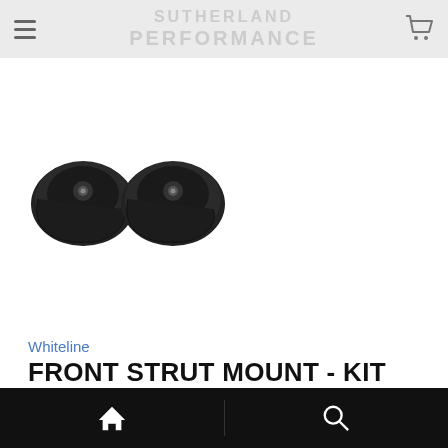Sutherland Performance
[Figure (photo): Two black Whiteline front strut mount components side by side]
Whiteline
FRONT STRUT MOUNT - KIT
$699.80
Home | Search navigation bar